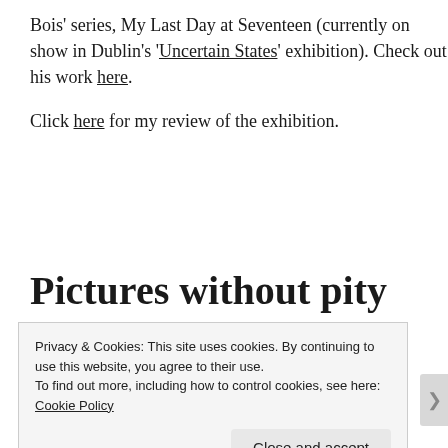Bois' series, My Last Day at Seventeen (currently on show in Dublin's 'Uncertain States' exhibition). Check out his work here.
Click here for my review of the exhibition.
Pictures without pity
Privacy & Cookies: This site uses cookies. By continuing to use this website, you agree to their use.
To find out more, including how to control cookies, see here: Cookie Policy